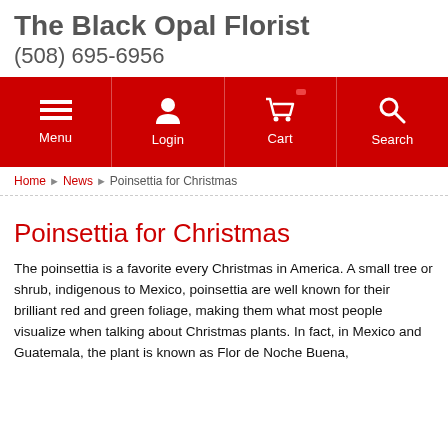The Black Opal Florist
(508) 695-6956
[Figure (other): Red navigation bar with Menu, Login, Cart, Search icons in white]
Home ▶ News ▶ Poinsettia for Christmas
Poinsettia for Christmas
The poinsettia is a favorite every Christmas in America. A small tree or shrub, indigenous to Mexico, poinsettia are well known for their brilliant red and green foliage, making them what most people visualize when talking about Christmas plants. In fact, in Mexico and Guatemala, the plant is known as Flor de Noche Buena,